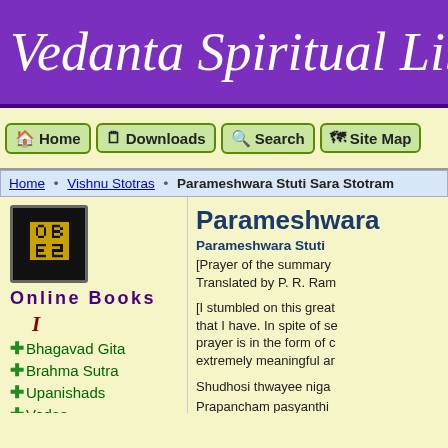Vedanta Spiritual Libr
Home | Downloads | Search | Site Map
Home • Vishnu Stotras • Parameshwara Stuti Sara Stotram
[Figure (logo): Om symbol in gold on black background]
Online Books
I
Bhagavad Gita
Brahma Sutra
Upanishads
Vedas
Vedic Hymns
Ramayanam
II
Adi Sankara
Parameshwara
Parameshwara Stuti
[Prayer of the summary Translated by P. R. Ram
[I stumbled on this great that I have. In spite of se prayer is in the form of c extremely meaningful ar
Shudhosi thwayee niga Prapancham pasyanthi Rabisthabbyus kruthwu